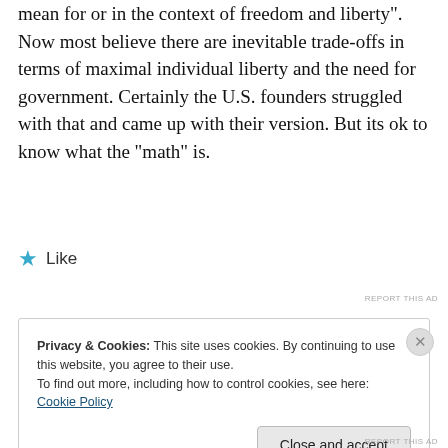mean for or in the context of freedom and liberty". Now most believe there are inevitable trade-offs in terms of maximal individual liberty and the need for government. Certainly the U.S. founders struggled with that and came up with their version. But its ok to know what the “math” is.
★ Like
REPORT THIS AD
Privacy & Cookies: This site uses cookies. By continuing to use this website, you agree to their use.
To find out more, including how to control cookies, see here: Cookie Policy
Close and accept
REPORT THIS AD